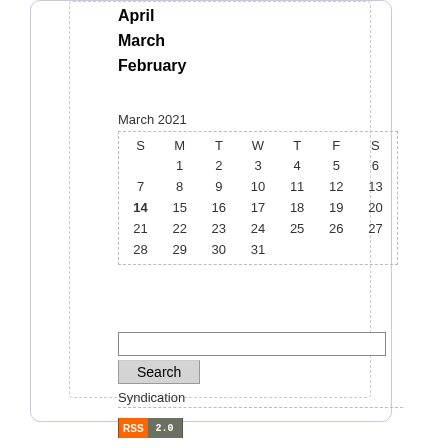April
March
February
| S | M | T | W | T | F | S |
| --- | --- | --- | --- | --- | --- | --- |
|  | 1 | 2 | 3 | 4 | 5 | 6 |
| 7 | 8 | 9 | 10 | 11 | 12 | 13 |
| 14 | 15 | 16 | 17 | 18 | 19 | 20 |
| 21 | 22 | 23 | 24 | 25 | 26 | 27 |
| 28 | 29 | 30 | 31 |  |  |  |
Search
Syndication
[Figure (other): RSS 2.0 badge]